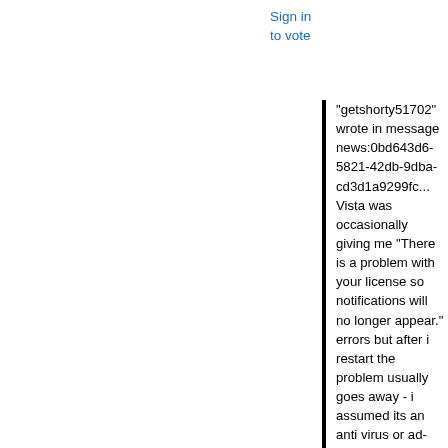Sign in to vote
"getshorty51702" wrote in message news:0bd643d6-5821-42db-9dba-cd3d1a9299fc...
Vista was occasionally giving me "There is a problem with your license so notifications will no longer appear." errors but after i restart the problem usually goes away - i assumed its an anti virus or ad-aware that caused this. But now, the error is coming up more often and would like to confirm whats causing it so I can get rid of the issue.

If I click the validate your product online, I get a picture of WIn 7 or Office, with links that leads to marketing these two products, with nothing allowing me to validate my copy.

MGADiag gives the following:

Diagnostic Report (1.9.0027.0):
----------------------------------------
Windows Validation Data-->
Validation Status: Invalid License
Validation Code: 50
Cached Online Validation Code: N/A, hr =